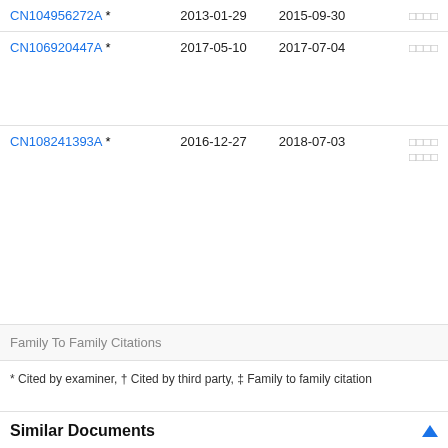| CN104956272A * | 2013-01-29 | 2015-09-30 | □□□□ |
| CN106920447A * | 2017-05-10 | 2017-07-04 | □□□□ |
| CN108241393A * | 2016-12-27 | 2018-07-03 | □□□□ □□□□ |
| Family To Family Citations |  |  |  |
* Cited by examiner, † Cited by third party, ‡ Family to family citation
Similar Documents